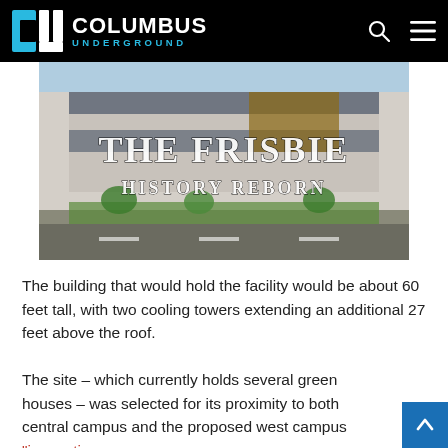Columbus Underground
[Figure (photo): Photo of a modern multi-story apartment building (The Frisbie) with text overlay reading 'THE FRISBIE – HISTORY REBORN']
The building that would hold the facility would be about 60 feet tall, with two cooling towers extending an additional 27 feet above the roof.
The site – which currently holds several green houses – was selected for its proximity to both central campus and the proposed west campus "innovatio...